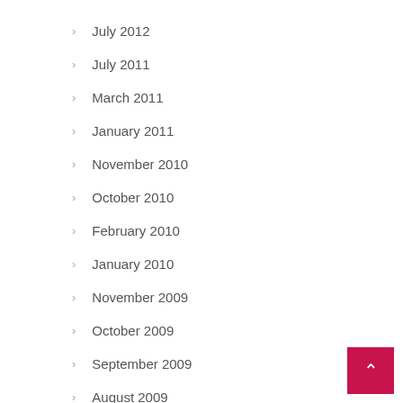July 2012
July 2011
March 2011
January 2011
November 2010
October 2010
February 2010
January 2010
November 2009
October 2009
September 2009
August 2009
July 2009